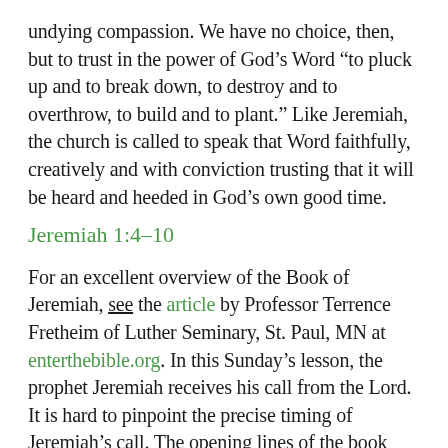undying compassion. We have no choice, then, but to trust in the power of God’s Word “to pluck up and to break down, to destroy and to overthrow, to build and to plant.” Like Jeremiah, the church is called to speak that Word faithfully, creatively and with conviction trusting that it will be heard and heeded in God’s own good time.
Jeremiah 1:4–10
For an excellent overview of the Book of Jeremiah, see the article by Professor Terrence Fretheim of Luther Seminary, St. Paul, MN at enterthebible.org. In this Sunday’s lesson, the prophet Jeremiah receives his call from the Lord. It is hard to pinpoint the precise timing of Jeremiah’s call. The opening lines of the book state that Jeremiah’s prophetic career began in the thirteenth year of the reign of King Josiah of Judah. Yet there is no reference in Jeremiah’s